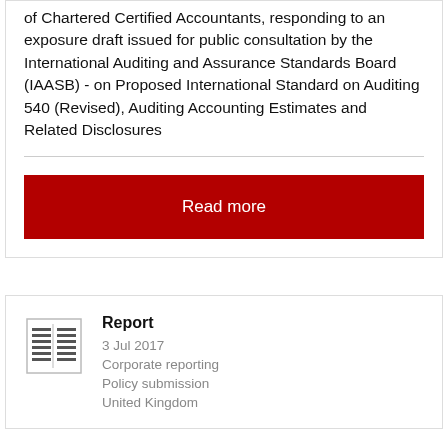of Chartered Certified Accountants, responding to an exposure draft issued for public consultation by the International Auditing and Assurance Standards Board (IAASB) - on Proposed International Standard on Auditing 540 (Revised), Auditing Accounting Estimates and Related Disclosures
Read more
Report
3 Jul 2017
Corporate reporting
Policy submission
United Kingdom